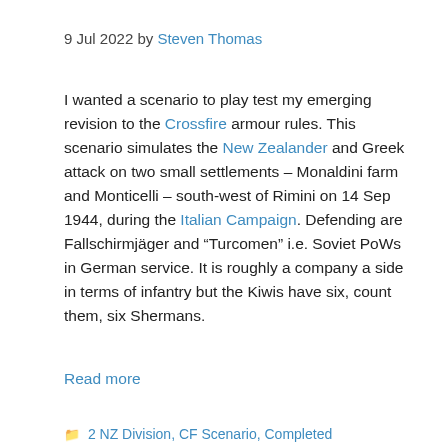9 Jul 2022 by Steven Thomas
I wanted a scenario to play test my emerging revision to the Crossfire armour rules. This scenario simulates the New Zealander and Greek attack on two small settlements – Monaldini farm and Monticelli – south-west of Rimini on 14 Sep 1944, during the Italian Campaign. Defending are Fallschirmjäger and “Turcomen” i.e. Soviet PoWs in German service. It is roughly a company a side in terms of infantry but the Kiwis have six, count them, six Shermans.
Read more
2 NZ Division, CF Scenario, Completed